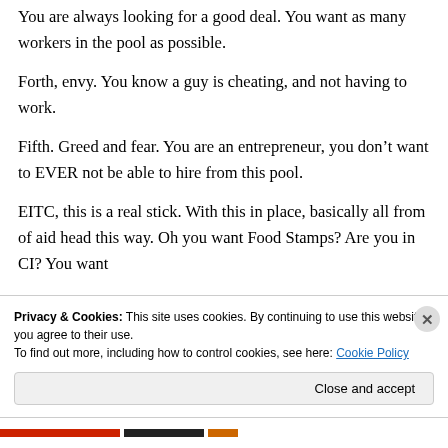You are always looking for a good deal. You want as many workers in the pool as possible.
Forth, envy. You know a guy is cheating, and not having to work.
Fifth. Greed and fear. You are an entrepreneur, you don’t want to EVER not be able to hire from this pool.
EITC, this is a real stick. With this in place, basically all from of aid head this way. Oh you want Food Stamps? Are you in CI? You want
Privacy & Cookies: This site uses cookies. By continuing to use this website, you agree to their use.
To find out more, including how to control cookies, see here: Cookie Policy